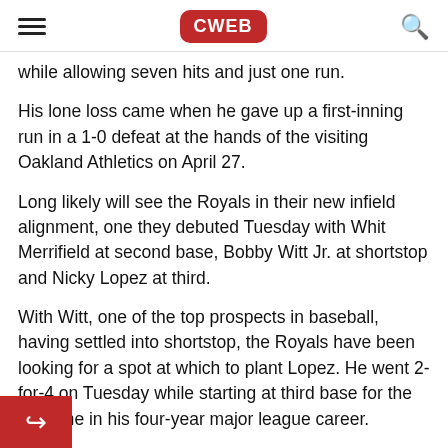CWEB
while allowing seven hits and just one run.
His lone loss came when he gave up a first-inning run in a 1-0 defeat at the hands of the visiting Oakland Athletics on April 27.
Long likely will see the Royals in their new infield alignment, one they debuted Tuesday with Whit Merrifield at second base, Bobby Witt Jr. at shortstop and Nicky Lopez at third.
With Witt, one of the top prospects in baseball, having settled into shortstop, the Royals have been looking for a spot at which to plant Lopez. He went 2-for-4 on Tuesday while starting at third base for the first time in his four-year major league career.